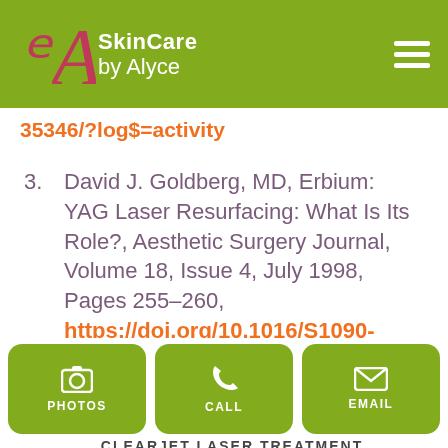Skin Care by Alyce
35346/?log$=activity
3. David J. Goldberg, MD, Erbium: YAG Laser Resurfacing: What Is Its Role?, Aesthetic Surgery Journal, Volume 18, Issue 4, July 1998, Pages 255–260, https://doi.org/10.1016/S1090-820X(98)70053-6
*RESULTS MAY VARY
PHOTOS  CALL  EMAIL